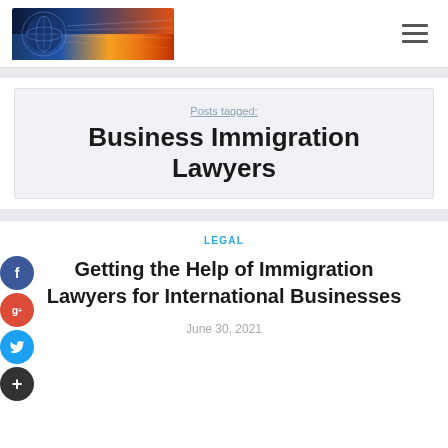[Logo: globe/world graphic with colorful banner] [Hamburger menu icon]
Posts tagged:
Business Immigration Lawyers
LEGAL
Getting the Help of Immigration Lawyers for International Businesses
June 30, 2021